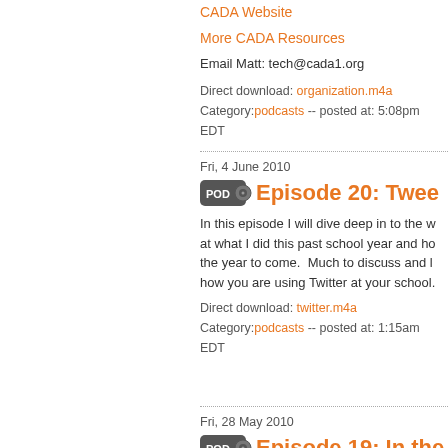CADA Website
More CADA Resources
Email Matt: tech@cada1.org
Direct download: organization.m4a
Category:podcasts -- posted at: 5:08pm EDT
Fri, 4 June 2010
Episode 20: Twee...
In this episode I will dive deep in to the w... at what I did this past school year and ho... the year to come.  Much to discuss and l... how you are using Twitter at your school...
Direct download: twitter.m4a
Category:podcasts -- posted at: 1:15am EDT
Fri, 28 May 2010
Episode 19: In the...
Activities Director Shannon Troutman - W... CA - shares what it is like to be a first yea... expounds on what she learned as well as... advisers that might be starting off as a di...